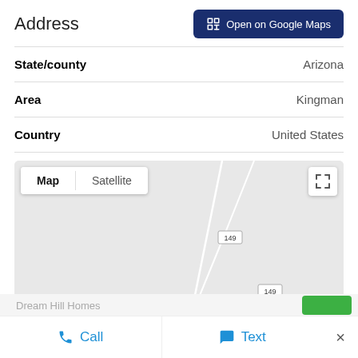Address
Open on Google Maps
| Field | Value |
| --- | --- |
| State/county | Arizona |
| Area | Kingman |
| Country | United States |
[Figure (map): Google Maps embed showing Kingman, Arizona area with road 149 marked and a blue location pin. Map/Satellite toggle tabs visible at top left, fullscreen button at top right.]
Call  Text  ×